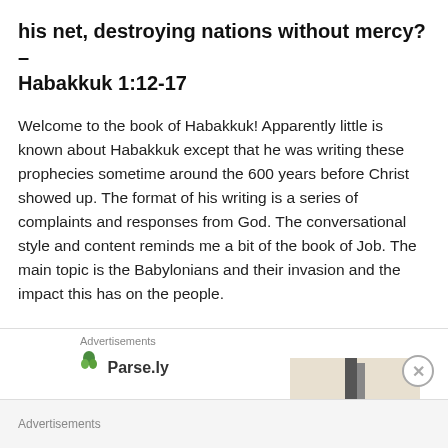his net, destroying nations without mercy? – Habakkuk 1:12-17
Welcome to the book of Habakkuk! Apparently little is known about Habakkuk except that he was writing these prophecies sometime around the 600 years before Christ showed up. The format of his writing is a series of complaints and responses from God. The conversational style and content reminds me a bit of the book of Job. The main topic is the Babylonians and their invasion and the impact this has on the people.
Advertisements
[Figure (logo): Parse.ly logo with green leaf icon and bold text 'Parse.ly']
[Figure (photo): Partial advertisement image showing a dark vertical object against a light background]
Advertisements